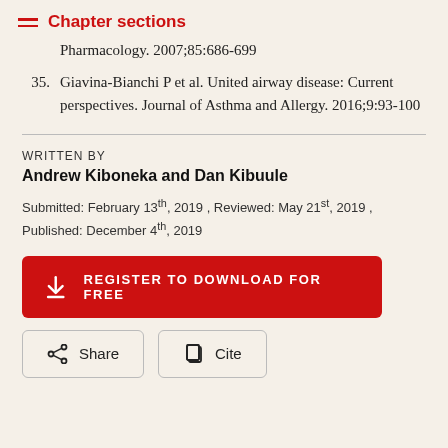Chapter sections
Pharmacology. 2007;85:686-699
35. Giavina-Bianchi P et al. United airway disease: Current perspectives. Journal of Asthma and Allergy. 2016;9:93-100
WRITTEN BY
Andrew Kiboneka and Dan Kibuule
Submitted: February 13th, 2019 , Reviewed: May 21st, 2019 , Published: December 4th, 2019
REGISTER TO DOWNLOAD FOR FREE
Share
Cite